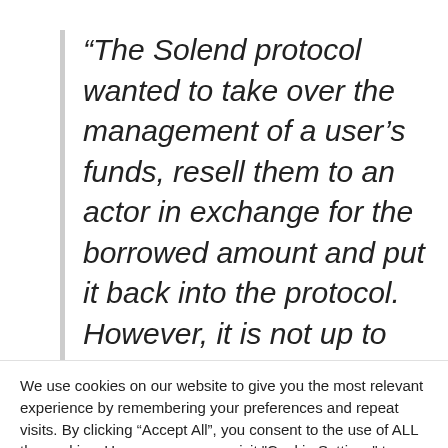“The Solend protocol wanted to take over the management of a user’s funds, resell them to an actor in exchange for the borrowed amount and put it back into the protocol. However, it is not up to them to make this
We use cookies on our website to give you the most relevant experience by remembering your preferences and repeat visits. By clicking “Accept All”, you consent to the use of ALL the cookies. However, you may visit "Cookie Settings" to provide a controlled consent.